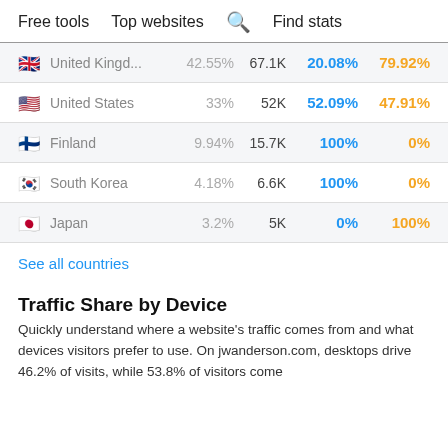Free tools   Top websites   🔍 Find stats
| Country | % | Visits | Desktop | Mobile |
| --- | --- | --- | --- | --- |
| United Kingd... | 42.55% | 67.1K | 20.08% | 79.92% |
| United States | 33% | 52K | 52.09% | 47.91% |
| Finland | 9.94% | 15.7K | 100% | 0% |
| South Korea | 4.18% | 6.6K | 100% | 0% |
| Japan | 3.2% | 5K | 0% | 100% |
See all countries
Traffic Share by Device
Quickly understand where a website's traffic comes from and what devices visitors prefer to use. On jwanderson.com, desktops drive 46.2% of visits, while 53.8% of visitors come